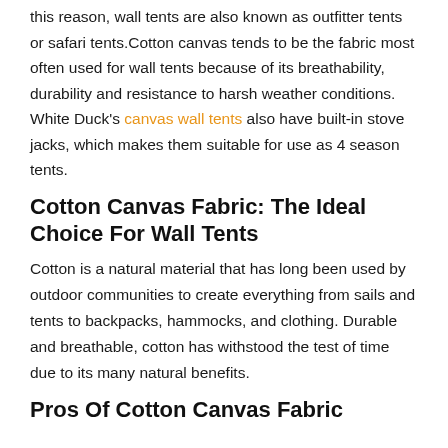this reason, wall tents are also known as outfitter tents or safari tents.Cotton canvas tends to be the fabric most often used for wall tents because of its breathability, durability and resistance to harsh weather conditions. White Duck's canvas wall tents also have built-in stove jacks, which makes them suitable for use as 4 season tents.
Cotton Canvas Fabric: The Ideal Choice For Wall Tents
Cotton is a natural material that has long been used by outdoor communities to create everything from sails and tents to backpacks, hammocks, and clothing. Durable and breathable, cotton has withstood the test of time due to its many natural benefits.
Pros Of Cotton Canvas Fabric